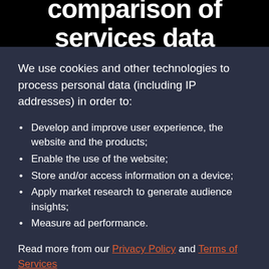comparison of services data
We use cookies and other technologies to process personal data (including IP addresses) in order to:
Develop and improve user experience, the website and the products;
Enable the use of the website;
Store and/or access information on a device;
Apply market research to generate audience insights;
Measure ad performance.
Read more from our Privacy Policy and Terms of Services
Accept